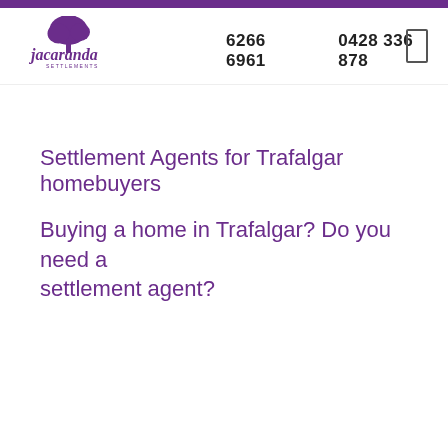[Figure (logo): Jacaranda Settlements logo with purple tree icon and stylized script text]
6266 6961     0428 336 878
Settlement Agents for Trafalgar homebuyers
Buying a home in Trafalgar? Do you need a settlement agent?